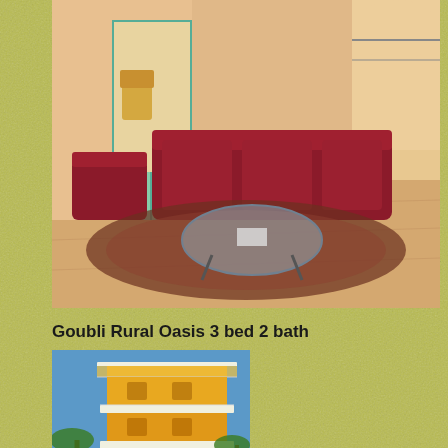[Figure (photo): Interior living room with red/burgundy sofa set, decorative rug on tiled floor, glass coffee table, arched doorways with teal/green framed glass doors opening to a balcony with chairs]
Goubli Rural Oasis 3 bed 2 bath
[Figure (photo): Exterior of a tall multi-story yellow/ochre building with white balconies and railings, arched windows, surrounded by palm trees, with a swimming pool and jacuzzi in the foreground]